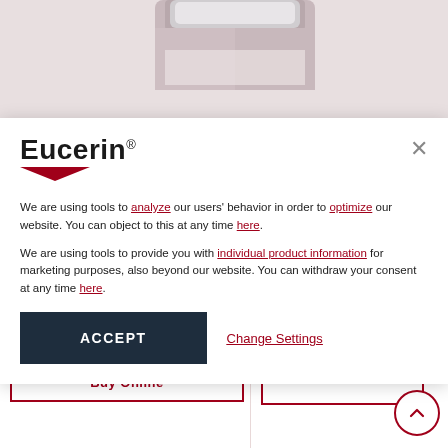[Figure (screenshot): Eucerin product bottle top visible behind a cookie consent modal]
Eucerin®
We are using tools to analyze our users' behavior in order to optimize our website. You can object to this at any time here.
We are using tools to provide you with individual product information for marketing purposes, also beyond our website. You can withdraw your consent at any time here.
ACCEPT
Change Settings
SKIN DISCOLOURATION
EVEN BRIGHTER Night Cream
Buy Online
AN INNOVAT
Eucerin Eve